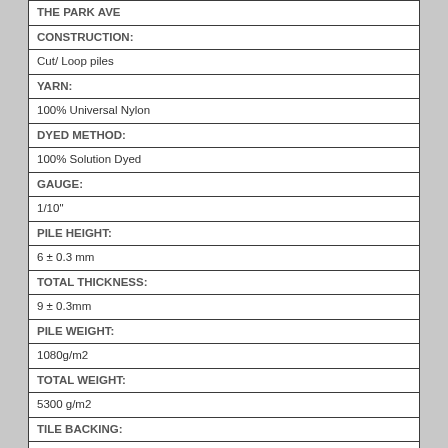| THE PARK AVE |
| CONSTRUCTION: |
| Cut/ Loop piles |
| YARN: |
| 100% Universal Nylon |
| DYED METHOD: |
| 100% Solution Dyed |
| GAUGE: |
| 1/10" |
| PILE HEIGHT: |
| 6 ± 0.3 mm |
| TOTAL THICKNESS: |
| 9 ± 0.3mm |
| PILE WEIGHT: |
| 1080g/m2 |
| TOTAL WEIGHT: |
| 5300 g/m2 |
| TILE BACKING: |
| PVC with Glass Fiber |